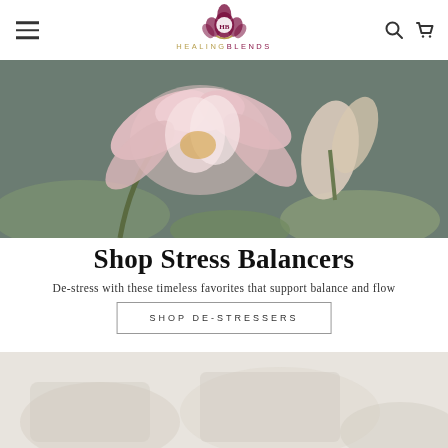[Figure (logo): HealingBlends logo with lotus/mandala icon and stylized text below]
[Figure (photo): Close-up photo of pink and white water lily / lotus flowers with green lily pads in background]
Shop Stress Balancers
De-stress with these timeless favorites that support balance and flow
SHOP DE-STRESSERS
[Figure (photo): Partially visible product/lifestyle image at bottom of page, light beige/cream tones]